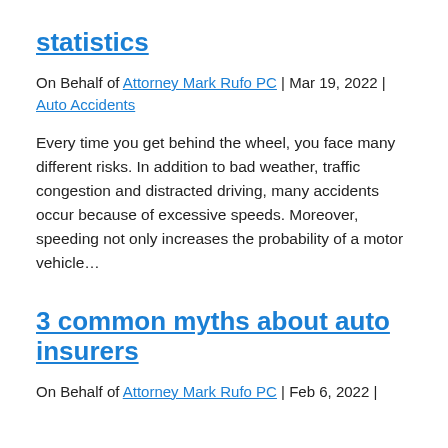statistics
On Behalf of Attorney Mark Rufo PC | Mar 19, 2022 | Auto Accidents
Every time you get behind the wheel, you face many different risks. In addition to bad weather, traffic congestion and distracted driving, many accidents occur because of excessive speeds. Moreover, speeding not only increases the probability of a motor vehicle…
3 common myths about auto insurers
On Behalf of Attorney Mark Rufo PC | Feb 6, 2022 |